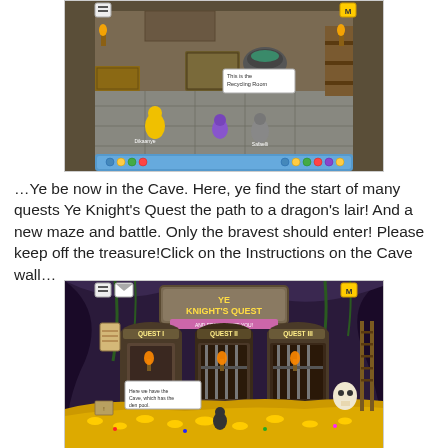[Figure (screenshot): Screenshot of a Club Penguin-style game room with stone floor, wooden furniture, crates, a cauldron, torches, and penguin characters. A tooltip reads 'This is the Recycling Room'. Blue toolbar at bottom with buttons.]
…Ye be now in the Cave. Here, ye find the start of many quests Ye Knight's Quest the path to a dragon's lair! And a new maze and battle. Only the bravest should enter! Please keep off the treasure!Click on the Instructions on the Cave wall…
[Figure (screenshot): Screenshot of a Club Penguin-style cave room titled 'YE KNIGHT'S QUEST' with three archways labeled QUEST I, QUEST II, QUEST III. A pile of gold coins fills the floor, torches are lit, and a tooltip reads 'Here we have the Cave, which has the den pool'.]